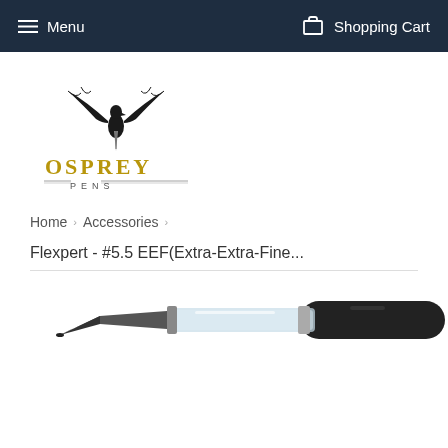Menu  Shopping Cart
[Figure (logo): Osprey Pens logo with eagle/bird graphic above text 'OSPREY PENS']
Home  >  Accessories  >
Flexpert - #5.5 EEF(Extra-Extra-Fine...
[Figure (photo): Close-up photo of a fountain pen nib/converter accessory on white background]